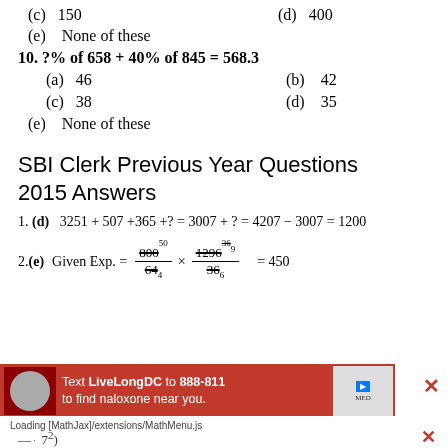(c) 150    (d) 400
(e) None of these
(a) 46    (b) 42
(c) 38    (d) 35
(e) None of these
SBI Clerk Previous Year Questions 2015 Answers
1. (d)   3251 + 507 + 365 + ? = 3007 + ? = 4207 − 3007 = 1200
Loading [MathJax]/extensions/MathMenu.js